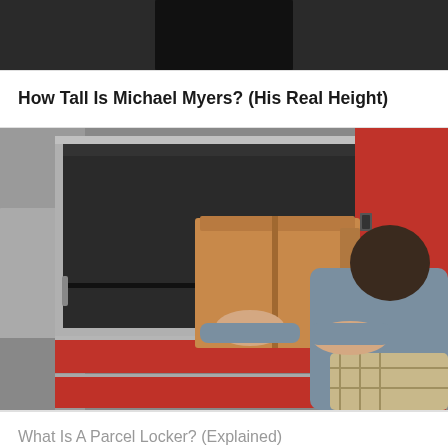[Figure (photo): Partial photo of a person in dark clothing (top cropped), likely Michael Myers or similar dark figure]
How Tall Is Michael Myers? (His Real Height)
[Figure (photo): Woman retrieving a brown cardboard box from an open red and grey parcel locker unit]
What Is A Parcel Locker? (Explained)